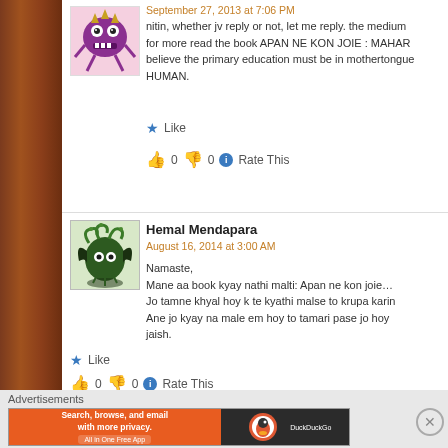September 27, 2013 at 7:06 PM
nitin, whether jv reply or not, let me reply. the medium for more read the book APAN NE KON JOIE : MAHAR believe the primary education must be in mothertongue HUMAN.
Like
0  0  Rate This
Hemal Mendapara
August 16, 2014 at 3:00 AM
Namaste,
Mane aa book kyay nathi malti: Apan ne kon joie…
Jo tamne khyal hoy k te kyathi malse to krupa karin
Ane jo kyay na male em hoy to tamari pase jo hoy jaish.
Like
0  0  Rate This
Advertisements
[Figure (screenshot): DuckDuckGo advertisement banner: orange section with 'Search, browse, and email with more privacy. All in One Free App' and dark section with DuckDuckGo logo]